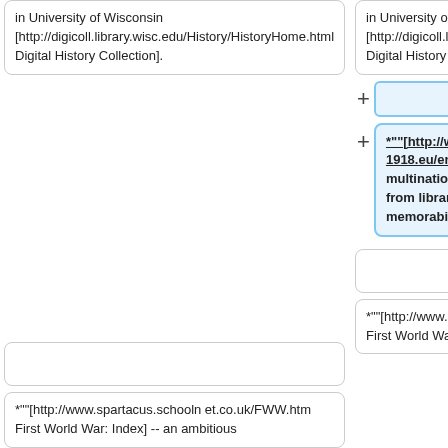in University of Wisconsin [http://digicoll.library.wisc.edu/History/HistoryHome.html Digital History Collection].
in University of Wisconsin [http://digicoll.library.wisc.edu/History/HistoryHome.html Digital History Collection].
*""[http://www.europeana1914-1918.eu/en/explore Europeana 1914-1918]"" A multinational project that blends resources from libraries and archives with memories and memorabilia from families throughout Europe.
*""[http://www.spartacus.schoolnet.co.uk/FWW.htm First World War: Index] -- an ambitious
*""[http://www.spartacus.schoolnet.co.uk/FWW.htm First World War: Index] -- an ambitious